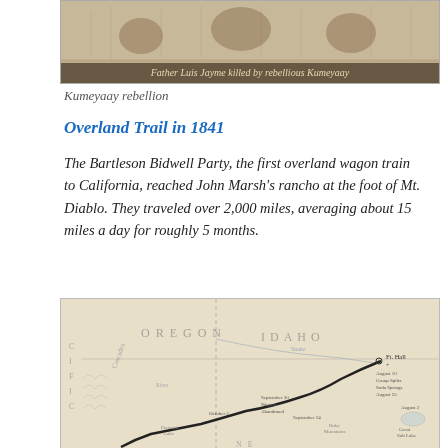[Figure (illustration): Engraving or sketch depicting Father Luis Jayme killed by rebellious Kumeyaay, showing figures in a violent scene with caption text overlay at bottom]
Kumeyaay rebellion
Overland Trail in 1841
The Bartleson Bidwell Party, the first overland wagon train to California, reached John Marsh's rancho at the foot of Mt. Diablo. They traveled over 2,000 miles, averaging about 15 miles a day for roughly 5 months.
[Figure (map): Historical map showing the western United States including Oregon, Idaho, and surrounding territories, with a trail route marked in bold line and various date annotations such as 'Ft. Hall', 'August 10 Group Splits', 'Soda Springs August 25', 'September 30 Wagons Abandoned', 'October 2', 'September 24', 'August 2', 'Great Salt Lake', and geographic features like rivers and mountains.]